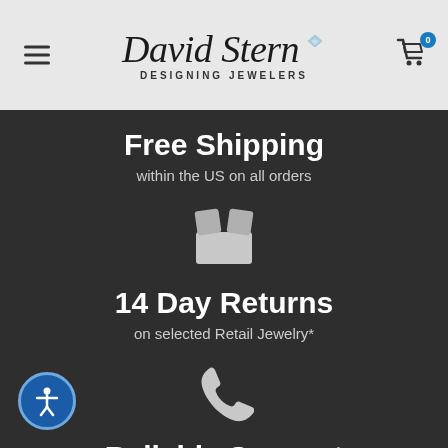[Figure (logo): David Stern Designing Jewelers logo with hamburger menu and cart icon]
Free Shipping
within the US on all orders
[Figure (illustration): Package/box icon in light gray]
14 Day Returns
on selected Retail Jewelry*
[Figure (illustration): Phone handset icon in light gray]
Reliable Support